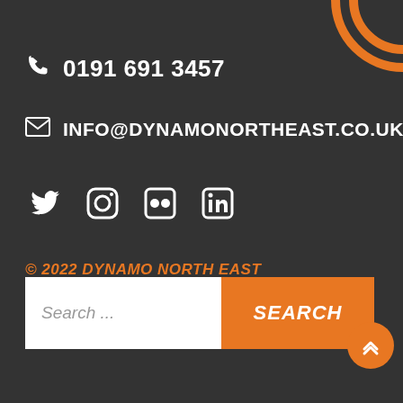[Figure (illustration): Orange decorative circle arcs in top-right corner]
0191 691 3457
INFO@DYNAMONORTHEAST.CO.UK
[Figure (illustration): Social media icons: Twitter, Instagram, Flickr, LinkedIn]
© 2022 DYNAMO NORTH EAST
PRIVACY POLICY // SAFEGUARDING POLICY
Search ...
SEARCH